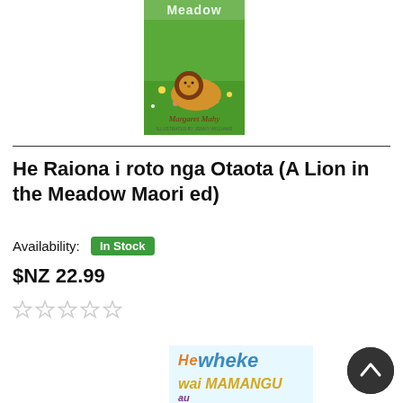[Figure (photo): Book cover of 'A Lion in the Meadow' by Margaret Mahy, showing a lion in a green meadow with flowers, with the word 'Meadow' visible at top and 'Margaret Mahy' author text.]
He Raiona i roto nga Otaota (A Lion in the Meadow Maori ed)
Availability: In Stock
$NZ 22.99
[Figure (other): Five empty star rating icons (0 out of 5 stars)]
[Figure (photo): Bottom portion of book cover 'He Wheke Wai Mamangu' with colorful illustrated text visible.]
[Figure (other): Dark circular scroll-to-top button with upward arrow chevron.]